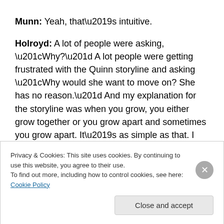Munn: Yeah, that's intuitive.
Holroyd: A lot of people were asking, “Why?” A lot people were getting frustrated with the Quinn storyline and asking “Why would she want to move on? She has no reason.” And my explanation for the storyline was when you grow, you either grow together or you grow apart and sometimes you grow apart. It’s as simple as that. I think that frustrated people. It’s so simple that it frustrated people. It would’ve
Privacy & Cookies: This site uses cookies. By continuing to use this website, you agree to their use.
To find out more, including how to control cookies, see here: Cookie Policy
Close and accept